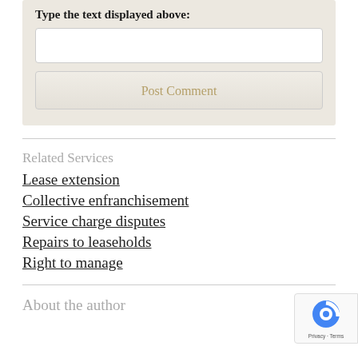Type the text displayed above:
[Figure (screenshot): CAPTCHA text input field and Post Comment button on a beige background]
Related Services
Lease extension
Collective enfranchisement
Service charge disputes
Repairs to leaseholds
Right to manage
About the author